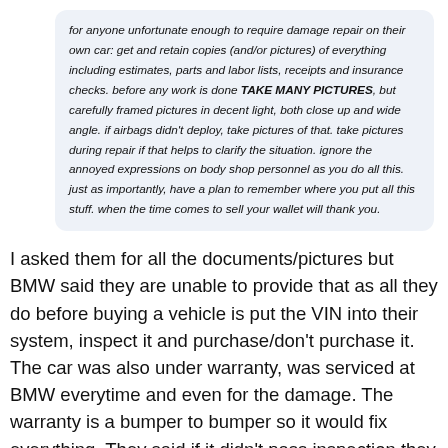for anyone unfortunate enough to require damage repair on their own car: get and retain copies (and/or pictures) of everything including estimates, parts and labor lists, receipts and insurance checks. before any work is done TAKE MANY PICTURES, but carefully framed pictures in decent light, both close up and wide angle. if airbags didn't deploy, take pictures of that. take pictures during repair if that helps to clarify the situation. ignore the annoyed expressions on body shop personnel as you do all this.
just as importantly, have a plan to remember where you put all this stuff. when the time comes to sell your wallet will thank you.
I asked them for all the documents/pictures but BMW said they are unable to provide that as all they do before buying a vehicle is put the VIN into their system, inspect it and purchase/don't purchase it. The car was also under warranty, was serviced at BMW everytime and even for the damage. The warranty is a bumper to bumper so it would fix everything. They said if it didn't pass inspection they wouldn't sell it for retail but at an auction instead.